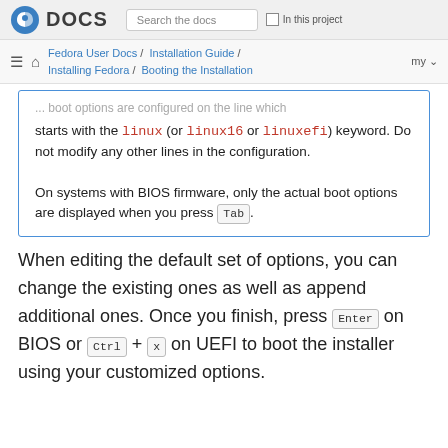DOCS | Search the docs | In this project
Fedora User Docs / Installation Guide / Installing Fedora / Booting the Installation | my
...actual boot options are configured on the line which starts with the linux (or linux16 or linuxefi) keyword. Do not modify any other lines in the configuration.

On systems with BIOS firmware, only the actual boot options are displayed when you press Tab.
When editing the default set of options, you can change the existing ones as well as append additional ones. Once you finish, press Enter on BIOS or Ctrl + X on UEFI to boot the installer using your customized options.